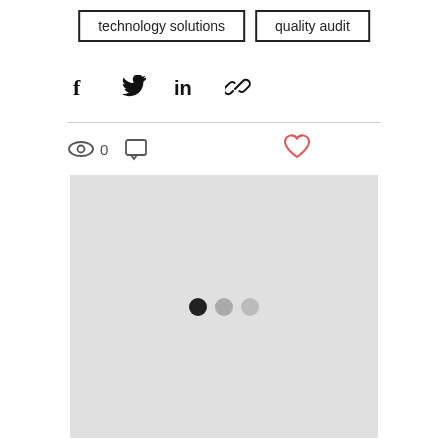technology solutions
quality audit
[Figure (infographic): Social share icons: Facebook, Twitter, LinkedIn, link/chain]
[Figure (infographic): Views icon with count 0, comment icon, heart/like button (red outline)]
[Figure (other): Large light gray placeholder image area with three loading dots (dark, medium gray, light gray)]